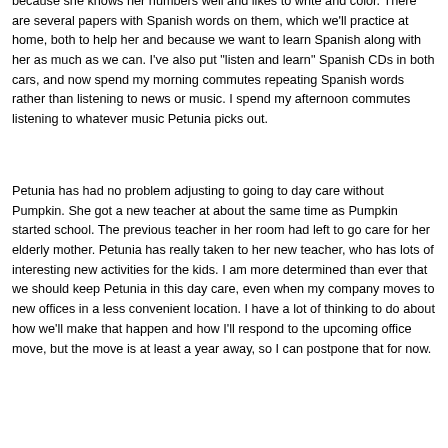because she knows her numbers well and likes to write and color. There are several papers with Spanish words on them, which we'll practice at home, both to help her and because we want to learn Spanish along with her as much as we can. I've also put "listen and learn" Spanish CDs in both cars, and now spend my morning commutes repeating Spanish words rather than listening to news or music. I spend my afternoon commutes listening to whatever music Petunia picks out.
Petunia has had no problem adjusting to going to day care without Pumpkin. She got a new teacher at about the same time as Pumpkin started school. The previous teacher in her room had left to go care for her elderly mother. Petunia has really taken to her new teacher, who has lots of interesting new activities for the kids. I am more determined than ever that we should keep Petunia in this day care, even when my company moves to new offices in a less convenient location. I have a lot of thinking to do about how we'll make that happen and how I'll respond to the upcoming office move, but the move is at least a year away, so I can postpone that for now.